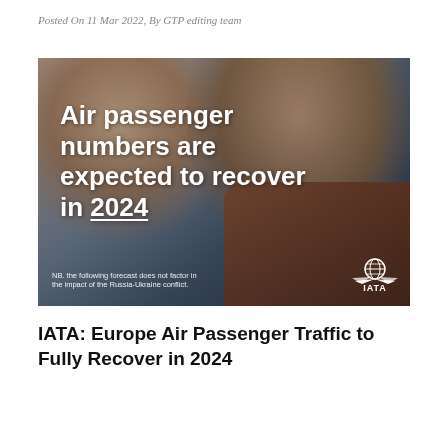Posted On 11 Mar 2022, By GTP editing team
[Figure (photo): Two passengers wearing face masks seated on an airplane, with overlaid bold white text reading 'Air passenger numbers are expected to recover in 2024' and IATA branding in the lower right corner. A note reads: NB. the following forecast does not factor in the impact of the Russia-Ukraine conflict.]
IATA: Europe Air Passenger Traffic to Fully Recover in 2024